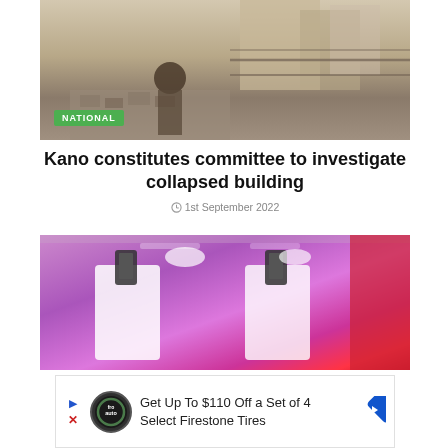[Figure (photo): Construction site with rubble and workers, collapsed building scene. A man in a traditional hat visible in foreground. NATIONAL badge overlaid in green.]
Kano constitutes committee to investigate collapsed building
1st September 2022
[Figure (photo): Two people in white clothing holding phones up in a brightly lit purple/pink and red interior space.]
Get Up To $110 Off a Set of 4 Select Firestone Tires